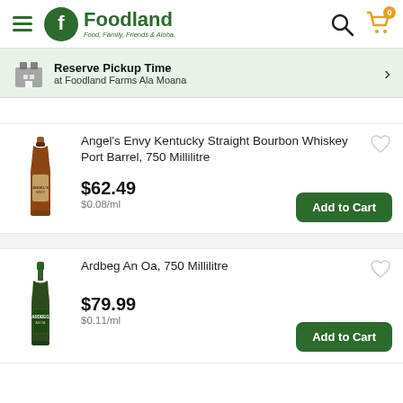Foodland — Food, Family, Friends & Aloha
Reserve Pickup Time at Foodland Farms Ala Moana
Angel's Envy Kentucky Straight Bourbon Whiskey Port Barrel, 750 Millilitre — $62.49 / $0.08/ml
Ardbeg An Oa, 750 Millilitre — $79.99 / $0.11/ml